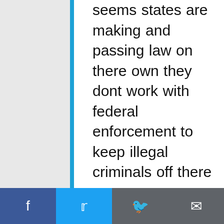seems states are making and passing law on there own they dont work with federal enforcement to keep illegal criminals off there streets in fact they run interference so the illegal criminal can escape the federal govt in those cases needs to rein in the state prosecute the officials beginning with the governor and going down as far as necessary and in other cases its the fed govt doing the overreaching which in almost all cases when peeled back ends up being a single judge appointed by a partisan president likely from the 9th circuit. There is a cure for all this infection that is within our only cure for it is the now theres no appetite
[Figure (other): Social media share bar with Facebook, Twitter, Reddit, and Email buttons]